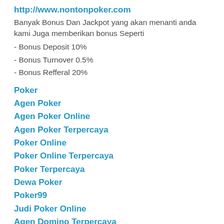http://www.nontonpoker.com
Banyak Bonus Dan Jackpot yang akan menanti anda kami Juga memberikan bonus Seperti
- Bonus Deposit 10%
- Bonus Turnover 0.5%
- Bonus Refferal 20%
Poker
Agen Poker
Agen Poker Online
Agen Poker Terpercaya
Poker Online
Poker Online Terpercaya
Poker Terpercaya
Dewa Poker
Poker99
Judi Poker Online
Agen Domino Terpercaya
Reply
To leave a comment, click the button below to sign in with Google.